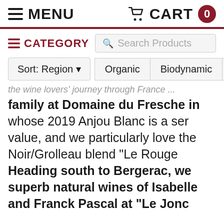MENU   CART 0
≡ CATEGORY   Search Products
Sort: Region ▾   Organic   Biodynamic   L
family at Domaine du Fresche in whose 2019 Anjou Blanc is a ser value, and we particularly love the Noir/Grolleau blend "Le Rouge Heading south to Bergerac, we superb natural wines of Isabelle and Franck Pascal at "Le Jonc